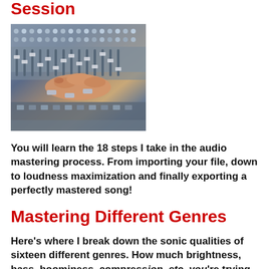Session
[Figure (photo): Close-up photo of a hand operating faders on an audio mixing console]
You will learn the 18 steps I take in the audio mastering process.  From importing your file, down to loudness maximization and finally exporting a perfectly mastered song!
Mastering Different Genres
Here’s where I break down the sonic qualities of sixteen different genres. How much brightness, bass, boominess, compression, etc. you're trying to achieve